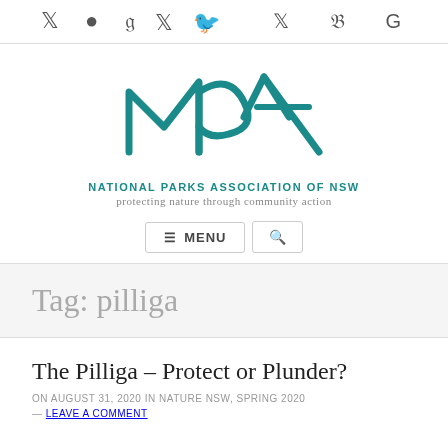Twitter Facebook Google (social icons)
[Figure (logo): National Parks Association of NSW logo — teal stylized NPA letters with mountain/wave shapes, text 'NATIONAL PARKS ASSOCIATION OF NSW' and tagline 'protecting nature through community action']
≡ MENU 🔍
Tag: pilliga
The Pilliga – Protect or Plunder?
ON AUGUST 31, 2020 IN NATURE NSW, SPRING 2020 — LEAVE A COMMENT